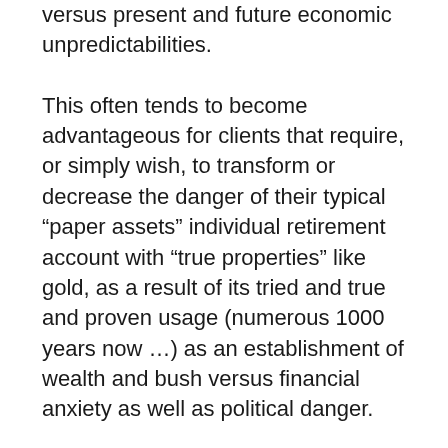versus present and future economic unpredictabilities.
This often tends to become advantageous for clients that require, or simply wish, to transform or decrease the danger of their typical “paper assets” individual retirement account with “true properties” like gold, as a result of its tried and true and proven usage (numerous 1000 years now …) as an establishment of wealth and bush versus financial anxiety as well as political danger.
Within this present uncertain monetary and also political truth that we find ourselves in right now and also going forward, it’s right now, and please pardon our company for being edgeless, completely required to